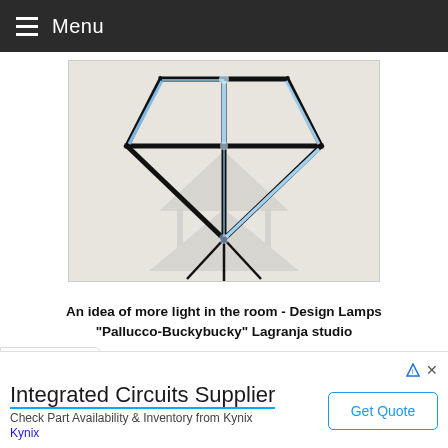Menu
[Figure (photo): A geometric diamond-shaped lamp with black frame edges and blue LED lights, casting a shadow on a light beige wall. The lamp appears to be a Pallucco-Buckybucky design by Lagranja studio.]
An idea of more light in the room - Design Lamps "Pallucco-Buckybucky" Lagranja studio
Integrated Circuits Supplier
Check Part Availability & Inventory from Kynix Kynix
Get Quote